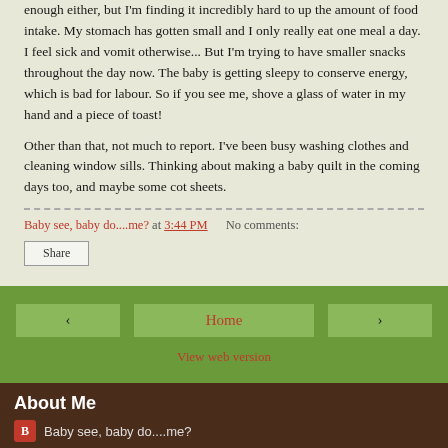enough either, but I'm finding it incredibly hard to up the amount of food intake. My stomach has gotten small and I only really eat one meal a day. I feel sick and vomit otherwise... But I'm trying to have smaller snacks throughout the day now. The baby is getting sleepy to conserve energy, which is bad for labour. So if you see me, shove a glass of water in my hand and a piece of toast!
Other than that, not much to report. I've been busy washing clothes and cleaning window sills. Thinking about making a baby quilt in the coming days too, and maybe some cot sheets.
Baby see, baby do....me? at 3:44 PM    No comments:
Share
‹    Home    ›
View web version
About Me
Baby see, baby do....me?